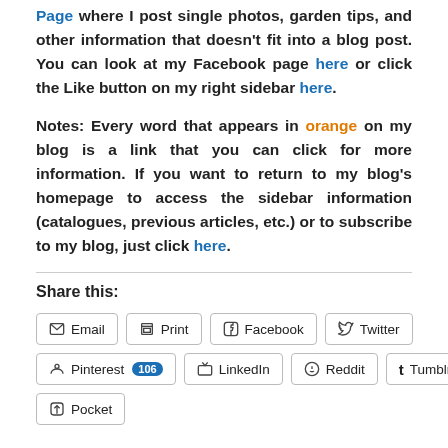Page where I post single photos, garden tips, and other information that doesn't fit into a blog post. You can look at my Facebook page here or click the Like button on my right sidebar here.
Notes: Every word that appears in orange on my blog is a link that you can click for more information. If you want to return to my blog's homepage to access the sidebar information (catalogues, previous articles, etc.) or to subscribe to my blog, just click here.
Share this:
Email  Print  Facebook  Twitter  Pinterest 106  LinkedIn  Reddit  Tumblr  Pocket